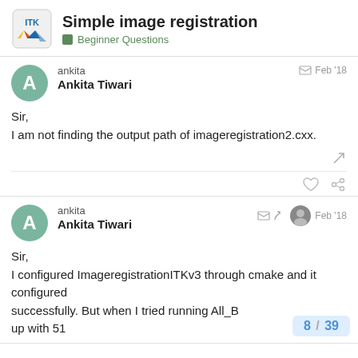Simple image registration — Beginner Questions
ankita
Ankita Tiwari
Feb '18
Sir,
I am not finding the output path of imageregistration2.cxx.
ankita
Ankita Tiwari
Feb '18
Sir,
I configured ImageregistrationITKv3 through cmake and it configured
successfully. But when I tried running All_B
up with 51